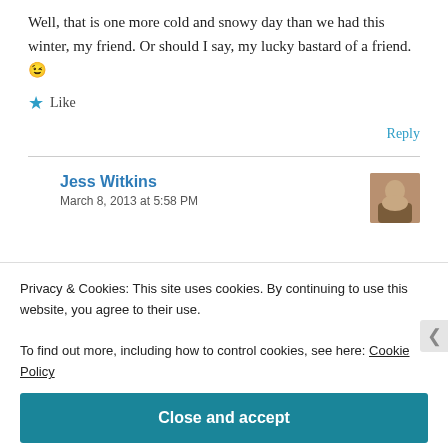Well, that is one more cold and snowy day than we had this winter, my friend. Or should I say, my lucky bastard of a friend. 😉
★ Like
Reply
Jess Witkins
March 8, 2013 at 5:58 PM
Privacy & Cookies: This site uses cookies. By continuing to use this website, you agree to their use.
To find out more, including how to control cookies, see here: Cookie Policy
Close and accept